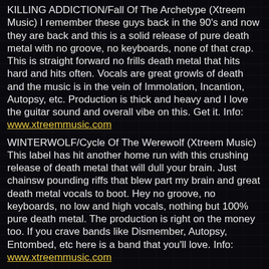KILLING ADDICTION/Fall Of The Archetype (Xtreem Music) I remember these guys back in the 90's and now they are back and this is a solid release of pure death metal with no groove, no keyboards, none of that crap. This is straight forward no frills death metal that hits hard and hits often. Vocals are great growls of death and the music is in the vein of Immolation, Incantion, Autopsy, etc. Production is thick and heavy and I love the guitar sound and overall vibe on this. Get it. Info: www.xtreemmusic.com
WINTERWOLF/Cycle Of The Werewolf (Xtreem Music) This label has hit another home run with this crushing release of death metal that will dull your brain. Just chainsw pounding riffs that blew part my brain and great death metal vocals to boot. Hey no groove, no keyboards, no low and high vocals, nothing but 100% pure death metal. The production is right on the money too. If you crave bands like Dismember, Autopsy, Entombed, etc here is a band that you'll love. Info: www.xtreemmusic.com
BLASPHERIAN/Allegiance To The Will Of Damnation (???) This was another average death/black metal that just sounds like a million other bands. I hear lots of Immolation in this and if I want to hear them I'll pop them in. The production on this is thin as hell and the drum sound is laughable. I have heard 1000's upon 1000's of bands while doing my zine and this is just another faceless band